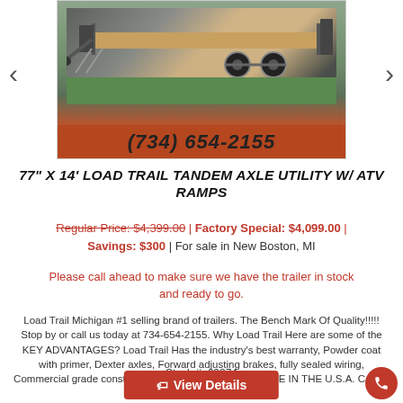[Figure (photo): A utility trailer with wooden deck and metal frame parked on grass, with a red banner showing phone number (734) 654-2155]
77" X 14' LOAD TRAIL TANDEM AXLE UTILITY W/ ATV RAMPS
Regular Price: $4,399.00 | Factory Special: $4,099.00 | Savings: $300 | For sale in New Boston, MI
Please call ahead to make sure we have the trailer in stock and ready to go.
Load Trail Michigan #1 selling brand of trailers. The Bench Mark Of Quality!!!!! Stop by or call us today at 734-654-2155. Why Load Trail Here are some of the KEY ADVANTAGES? Load Trail Has the industry's best warranty, Powder coat with primer, Dexter axles, Forward adjusting brakes, fully sealed wiring, Commercial grade construction, Full LED Lights and MADE IN THE U.S.A. Call us today at 734-654-2155-...
Stock #: 69074